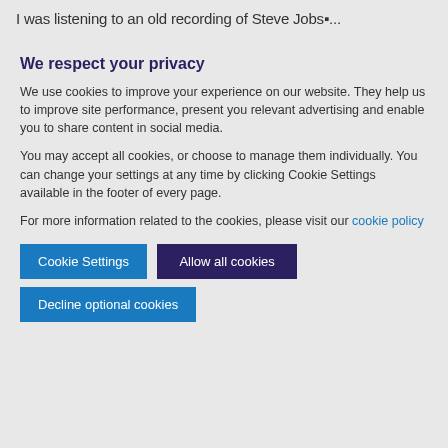I was listening to an old recording of Steve Jobs�...
We respect your privacy
We use cookies to improve your experience on our website. They help us to improve site performance, present you relevant advertising and enable you to share content in social media.
You may accept all cookies, or choose to manage them individually. You can change your settings at any time by clicking Cookie Settings available in the footer of every page.
For more information related to the cookies, please visit our cookie policy
Cookie Settings
Allow all cookies
Decline optional cookies